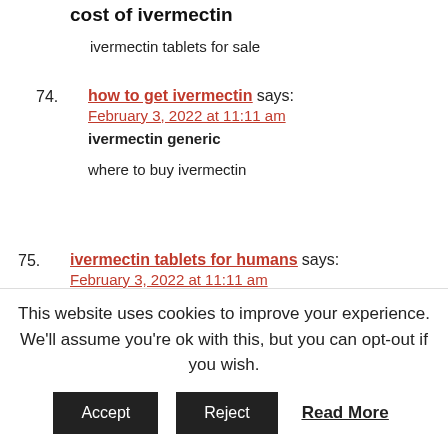cost of ivermectin
ivermectin tablets for sale
74. how to get ivermectin says: February 3, 2022 at 11:11 am
ivermectin generic

where to buy ivermectin
75. ivermectin tablets for humans says: February 3, 2022 at 11:11 am
This website uses cookies to improve your experience. We'll assume you're ok with this, but you can opt-out if you wish. Accept Reject Read More